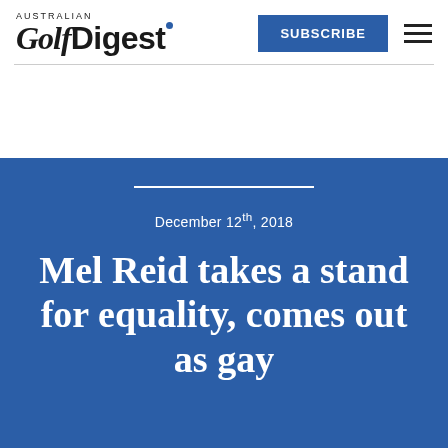Australian Golf Digest
December 12th, 2018
Mel Reid takes a stand for equality, comes out as gay